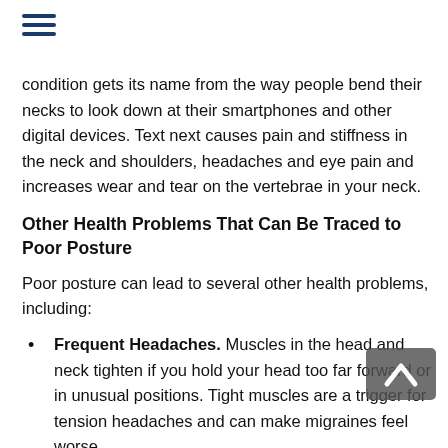condition gets its name from the way people bend their necks to look down at their smartphones and other digital devices. Text next causes pain and stiffness in the neck and shoulders, headaches and eye pain and increases wear and tear on the vertebrae in your neck.
Other Health Problems That Can Be Traced to Poor Posture
Poor posture can lead to several other health problems, including:
Frequent Headaches. Muscles in the head and neck tighten if you hold your head too far forward or in unusual positions. Tight muscles are a trigger for tension headaches and can make migraines feel worse.
Temporomandibular Joint Dysfunction (TMJ).